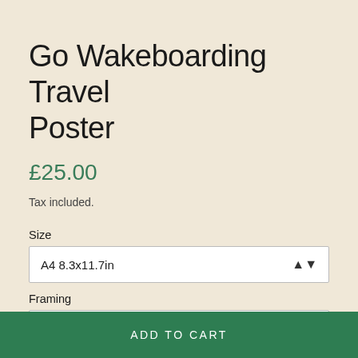Go Wakeboarding Travel Poster
£25.00
Tax included.
Size
A4 8.3x11.7in
Framing
Print Only
ADD TO CART